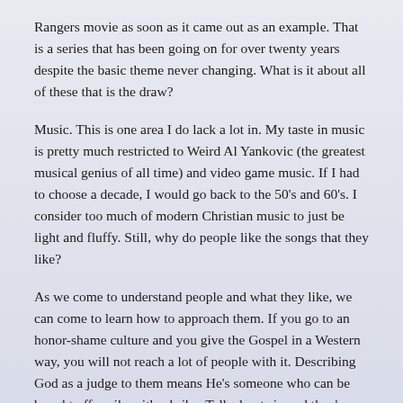Rangers movie as soon as it came out as an example. That is a series that has been going on for over twenty years despite the basic theme never changing. What is it about all of these that is the draw?
Music. This is one area I do lack a lot in. My taste in music is pretty much restricted to Weird Al Yankovic (the greatest musical genius of all time) and video game music. If I had to choose a decade, I would go back to the 50's and 60's. I consider too much of modern Christian music to just be light and fluffy. Still, why do people like the songs that they like?
As we come to understand people and what they like, we can come to learn how to approach them. If you go to an honor-shame culture and you give the Gospel in a Western way, you will not reach a lot of people with it. Describing God as a judge to them means He's someone who can be bought off easily with a bribe. Talk about sin and they're confused. Talk about broken relationship and dishonoring God and they will